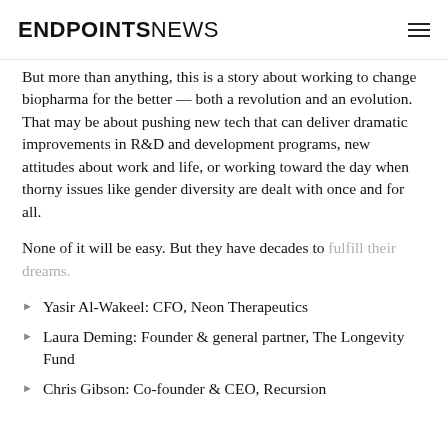ENDPOINTS NEWS
But more than anything, this is a story about working to change biopharma for the better — both a revolution and an evolution. That may be about pushing new tech that can deliver dramatic improvements in R&D and development programs, new attitudes about work and life, or working toward the day when thorny issues like gender diversity are dealt with once and for all.
None of it will be easy. But they have decades to fulfill their dreams.
Yasir Al-Wakeel: CFO, Neon Therapeutics
Laura Deming: Founder & general partner, The Longevity Fund
Chris Gibson: Co-founder & CEO, Recursion